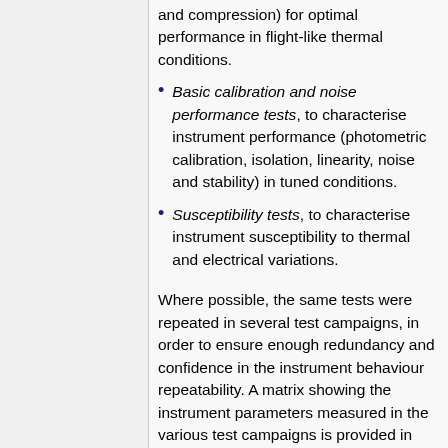and compression) for optimal performance in flight-like thermal conditions.
Basic calibration and noise performance tests, to characterise instrument performance (photometric calibration, isolation, linearity, noise and stability) in tuned conditions.
Susceptibility tests, to characterise instrument susceptibility to thermal and electrical variations.
Where possible, the same tests were repeated in several test campaigns, in order to ensure enough redundancy and confidence in the instrument behaviour repeatability. A matrix showing the instrument parameters measured in the various test campaigns is provided in Table 1 of [16]Planck pre-launch paper 5.